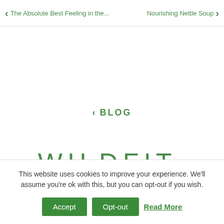< The Absolute Best Feeling in the...    Nourishing Nettle Soup >
< BLOG
[Figure (logo): WILDFIT. brand logo in green letters]
This website uses cookies to improve your experience. We'll assume you're ok with this, but you can opt-out if you wish.
Accept
Opt-out
Read More